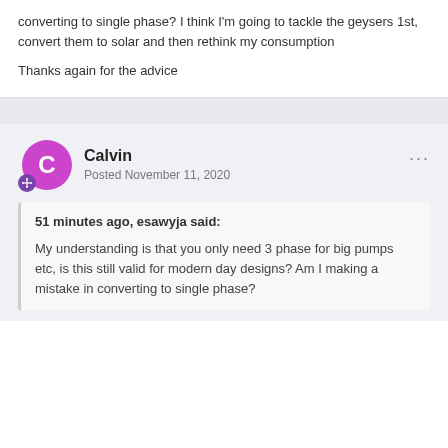converting to single phase? I think I'm going to tackle the geysers 1st, convert them to solar and then rethink my consumption
Thanks again for the advice
Calvin
Posted November 11, 2020
51 minutes ago, esawyja said:
My understanding is that you only need 3 phase for big pumps etc, is this still valid for modern day designs? Am I making a mistake in converting to single phase?